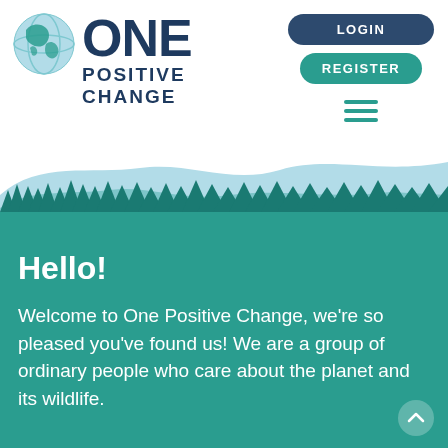[Figure (logo): One Positive Change logo with globe icon and text ONE POSITIVE CHANGE]
[Figure (illustration): Navigation buttons: LOGIN (dark blue pill), REGISTER (teal pill), and hamburger menu icon]
[Figure (illustration): Scenic landscape illustration: teal background with light blue rolling hills and dark teal pine forest silhouette]
Hello!
Welcome to One Positive Change, we’re so pleased you’ve found us! We are a group of ordinary people who care about the planet and its wildlife.